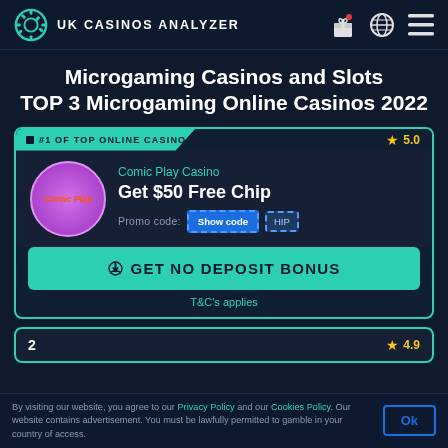UK CASINOS ANALYZER
Microgaming Casinos and Slots TOP 3 Microgaming Online Casinos 2022
#1 OF TOP ONLINE CASINOS   ★ 5.0
Comic Play Casino
Get $50 Free Chip
Promo code:  Show code  HIP
GET NO DEPOSIT BONUS
T&C's applies
2   ★ 4.9
By visiting our website, you agree to our Privacy Policy and our Cookies Policy. Our website contains advertisement. You must be lawfully permitted to gamble in your country of access.